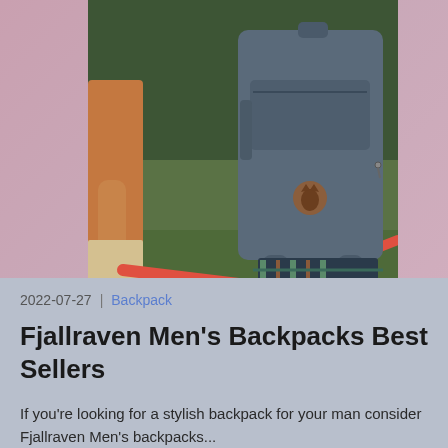[Figure (photo): Person wearing a large dark blue/grey Fjallraven backpack with a brown fox logo, holding a red strap, standing outdoors in a green grassy area with trees in the background. Another person's arm visible on the left.]
2022-07-27 | Backpack
Fjallraven Men's Backpacks Best Sellers
If you're looking for a stylish backpack for your man consider Fjallraven Men's backpacks...